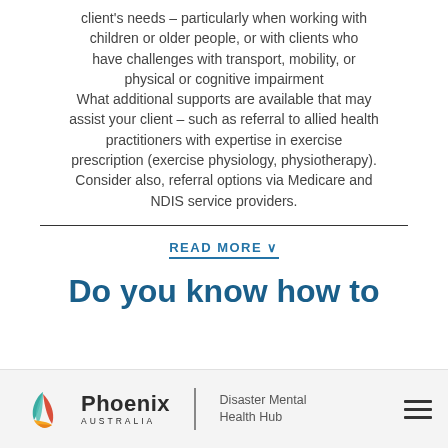client's needs – particularly when working with children or older people, or with clients who have challenges with transport, mobility, or physical or cognitive impairment
What additional supports are available that may assist your client – such as referral to allied health practitioners with expertise in exercise prescription (exercise physiology, physiotherapy). Consider also, referral options via Medicare and NDIS service providers.
READ MORE ˅
Do you know how to
[Figure (logo): Phoenix Australia – Disaster Mental Health Hub logo with stylized leaf/flame icon in teal, red and yellow]